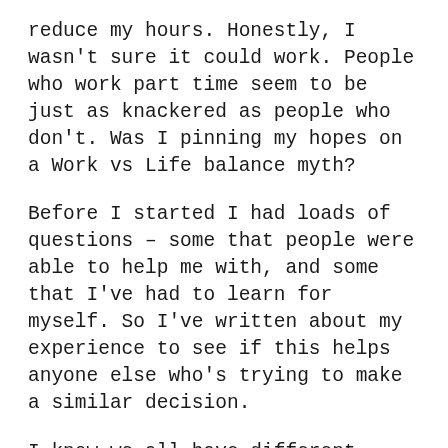reduce my hours. Honestly, I wasn't sure it could work. People who work part time seem to be just as knackered as people who don't. Was I pinning my hopes on a Work vs Life balance myth?
Before I started I had loads of questions – some that people were able to help me with, and some that I've had to learn for myself. So I've written about my experience to see if this helps anyone else who's trying to make a similar decision.
I know we all have different jobs, hours and employers' rules, so to set the scene, I do a traditional nine-to-five office type of role, for a big company, and have a fantastic boss who is open to flexible working. Yes, I know, I'm blooming lucky!!